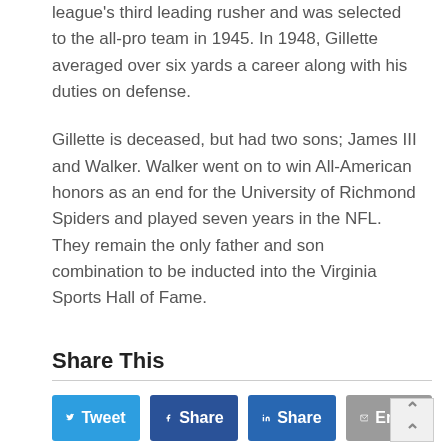league's third leading rusher and was selected to the all-pro team in 1945.  In 1948, Gillette averaged over six yards a career along with his duties on defense.
Gillette is deceased, but had two sons; James III and Walker.  Walker went on to win All-American honors as an end for the University of Richmond Spiders and played seven years in the NFL.  They remain the only father and son combination to be inducted into the Virginia Sports Hall of Fame.
Share This